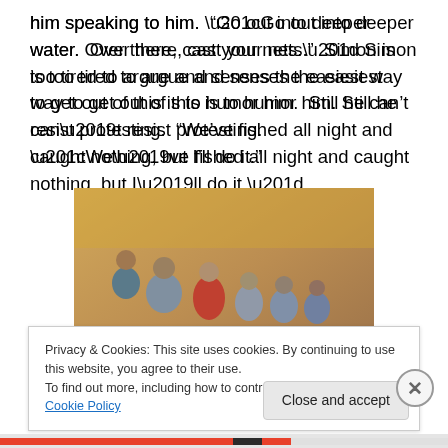him speaking to him.  “Go out into deeper water.  Over there, cast your nets.”  Simon is too tired to argue and senses the easiest way to get out of this is to humor him.  Still he can’t resist protesting.  “We’ve fished all night and caught nothing, but I’ll do it.”
[Figure (photo): Medieval or Byzantine-style painting depicting Jesus (far left) gesturing toward a group of fishermen in a wooden boat pulling nets, with a golden background typical of Byzantine iconography.]
Privacy & Cookies: This site uses cookies. By continuing to use this website, you agree to their use.
To find out more, including how to control cookies, see here: Cookie Policy
Close and accept